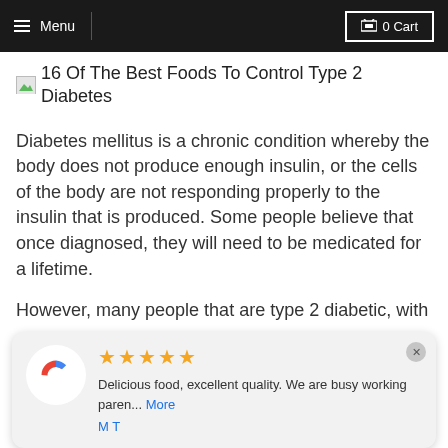Menu   0 Cart
16 Of The Best Foods To Control Type 2 Diabetes
Diabetes mellitus is a chronic condition whereby the body does not produce enough insulin, or the cells of the body are not responding properly to the insulin that is produced. Some people believe that once diagnosed, they will need to be medicated for a lifetime.
However, many people that are type 2 diabetic, with
[Figure (screenshot): Google review popup with 5 stars, text 'Delicious food, excellent quality. We are busy working paren... More', reviewer name 'M T']